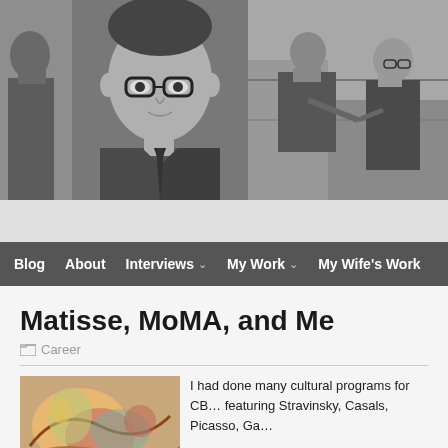[Figure (photo): Three black-and-white photographs side by side: left shows a man in profile, center is a close-up portrait of a man wearing glasses, right shows a woman and a man in conversation on stairs.]
Blog   About   Interviews   My Work   My Wife's Work
Matisse, MoMA, and Me
Career
I had done many cultural programs for CB… featuring Stravinsky, Casals, Picasso, Ga…